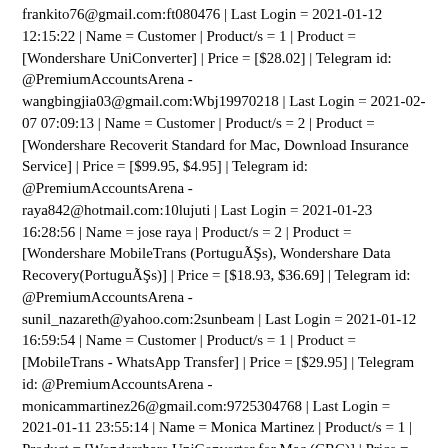frankito76@gmail.com:ft080476 | Last Login = 2021-01-12 12:15:22 | Name = Customer | Product/s = 1 | Product = [Wondershare UniConverter] | Price = [$28.02] | Telegram id: @PremiumAccountsArena - wangbingjia03@gmail.com:Wbj19970218 | Last Login = 2021-02-07 07:09:13 | Name = Customer | Product/s = 2 | Product = [Wondershare Recoverit Standard for Mac, Download Insurance Service] | Price = [$99.95, $4.95] | Telegram id: @PremiumAccountsArena - raya842@hotmail.com:10lujuti | Last Login = 2021-01-23 16:28:56 | Name = jose raya | Product/s = 2 | Product = [Wondershare MobileTrans (PortuguÃŞs), Wondershare Data Recovery(PortuguÃŞs)] | Price = [$18.93, $36.69] | Telegram id: @PremiumAccountsArena - sunil_nazareth@yahoo.com:2sunbeam | Last Login = 2021-01-12 16:59:54 | Name = Customer | Product/s = 1 | Product = [MobileTrans - WhatsApp Transfer] | Price = [$29.95] | Telegram id: @PremiumAccountsArena - monicammartinez26@gmail.com:9725304768 | Last Login = 2021-01-11 23:55:14 | Name = Monica Martinez | Product/s = 1 | Product = [Wondershare UniConverter for Mac (CRC)] | Price = [$59.99] |